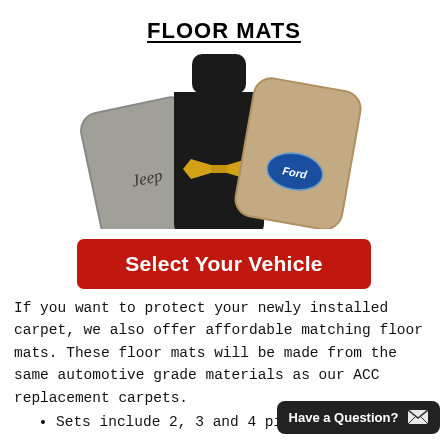FLOOR MATS
[Figure (photo): Three automotive floor mats overlapping: a gray Jeep mat on the left, a black Chevrolet mat in the center with gold bowtie logo, and a tan Ford mat on the right with blue Ford oval logo.]
Select Your Vehicle
If you want to protect your newly installed carpet, we also offer affordable matching floor mats. These floor mats will be made from the same automotive grade materials as our ACC replacement carpets.
Sets include 2, 3 and 4 pieces
Have a Question? ✉